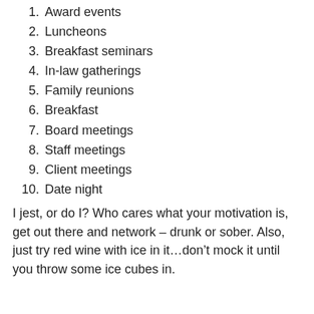1. Award events
2. Luncheons
3. Breakfast seminars
4. In-law gatherings
5. Family reunions
6. Breakfast
7. Board meetings
8. Staff meetings
9. Client meetings
10. Date night
I jest, or do I? Who cares what your motivation is, get out there and network – drunk or sober. Also, just try red wine with ice in it…don’t mock it until you throw some ice cubes in.